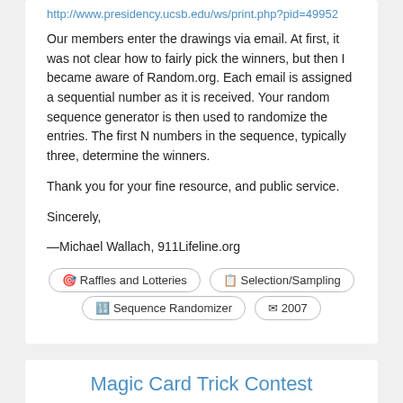http://www.presidency.ucsb.edu/ws/print.php?pid=49952
Our members enter the drawings via email. At first, it was not clear how to fairly pick the winners, but then I became aware of Random.org. Each email is assigned a sequential number as it is received. Your random sequence generator is then used to randomize the entries. The first N numbers in the sequence, typically three, determine the winners.
Thank you for your fine resource, and public service.
Sincerely,
—Michael Wallach, 911Lifeline.org
🎯 Raffles and Lotteries
📋 Selection/Sampling
🔢 Sequence Randomizer
✉ 2007
Magic Card Trick Contest
Mr. Wizard is a monthly contest based on a pretty neat on-line card trick. A $50 cash prize is awarded each month to both